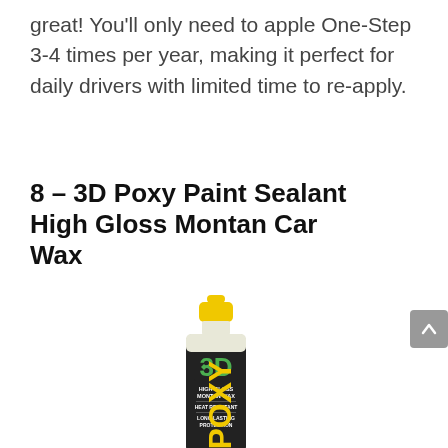great! You'll only need to apple One-Step 3-4 times per year, making it perfect for daily drivers with limited time to re-apply.
8 – 3D Poxy Paint Sealant High Gloss Montan Car Wax
[Figure (photo): A bottle of 3D Poxy High Gloss Montan Wax with a yellow cap, black label showing '3D', 'HIGH GLOSS MONTAN WAX', 'HEAT RESISTANT', 'LONG LASTING PROTECTION', and yellow 'POXY' text on the side.]